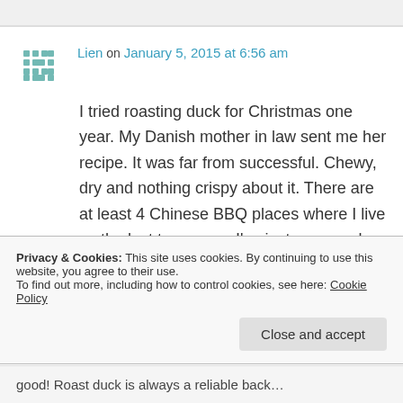Lien on January 5, 2015 at 6:56 am
I tried roasting duck for Christmas one year. My Danish mother in law sent me her recipe. It was far from successful. Chewy, dry and nothing crispy about it. There are at least 4 Chinese BBQ places where I live so the last two years, I've just gone and bought the duck.
Privacy & Cookies: This site uses cookies. By continuing to use this website, you agree to their use.
To find out more, including how to control cookies, see here: Cookie Policy
Close and accept
good! Roast duck is always a reliable back…